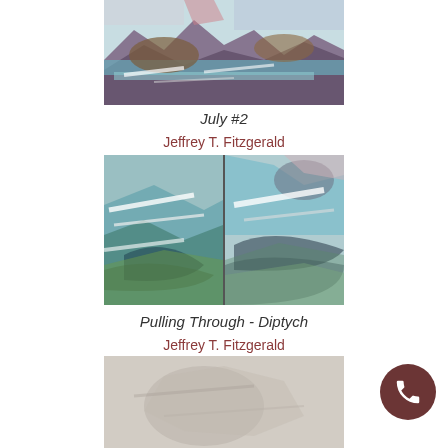[Figure (photo): Abstract expressionist painting showing coastal landscape with teal, brown, purple, and white brushstrokes — top portion cropped]
July #2
Jeffrey T. Fitzgerald
[Figure (photo): Abstract expressionist diptych painting showing swirling sea/landscape scene with teal, green, white, and dark brushstrokes, split vertically in center]
Pulling Through - Diptych
Jeffrey T. Fitzgerald
[Figure (photo): Partial view of a third abstract painting, mostly pale/soft tones, cropped at bottom of page]